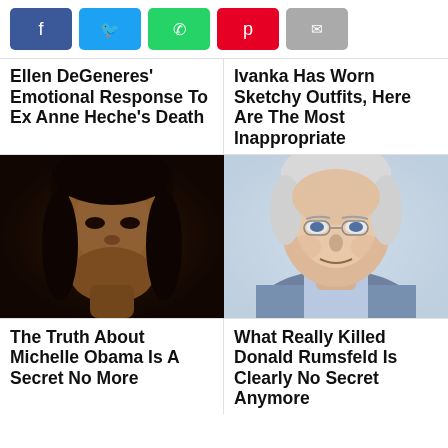[Figure (other): Social media share buttons: Facebook (blue), Twitter (light blue), WhatsApp (green), Pinterest (red), Email (grey)]
Ellen DeGeneres' Emotional Response To Ex Anne Heche's Death
Ivanka Has Worn Sketchy Outfits, Here Are The Most Inappropriate
[Figure (photo): Close-up photo of a Black woman with dark hair, serious expression, against a dark background]
[Figure (photo): Photo of an elderly white-haired man wearing glasses, smiling, in a suit, against a light background]
The Truth About Michelle Obama Is A Secret No More
What Really Killed Donald Rumsfeld Is Clearly No Secret Anymore